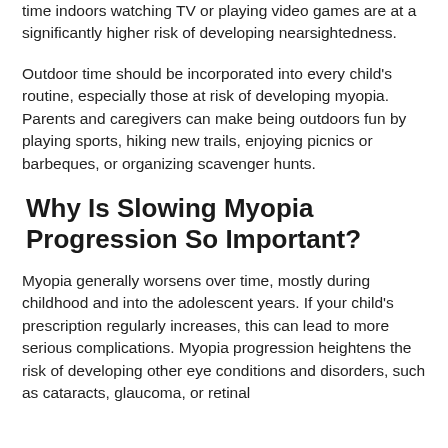time indoors watching TV or playing video games are at a significantly higher risk of developing nearsightedness.
Outdoor time should be incorporated into every child's routine, especially those at risk of developing myopia. Parents and caregivers can make being outdoors fun by playing sports, hiking new trails, enjoying picnics or barbeques, or organizing scavenger hunts.
Why Is Slowing Myopia Progression So Important?
Myopia generally worsens over time, mostly during childhood and into the adolescent years. If your child's prescription regularly increases, this can lead to more serious complications. Myopia progression heightens the risk of developing other eye conditions and disorders, such as cataracts, glaucoma, or retinal